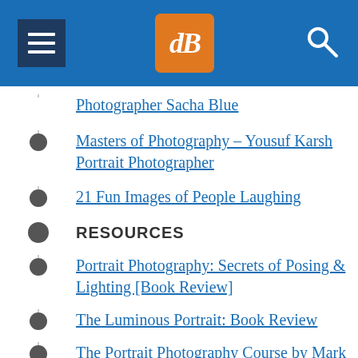dPS navigation header
Photographer Sacha Blue
Masters of Photography – Yousuf Karsh Portrait Photographer
21 Fun Images of People Laughing
RESOURCES
Portrait Photography: Secrets of Posing & Lighting [Book Review]
The Luminous Portrait: Book Review
The Portrait Photography Course by Mark Jenkinson – Book Review
The Perfect Portrait Guide – How to Photograph People – Book Review